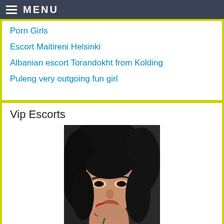MENU
Porn Girls
Escort Maitireni Helsinki
Albanian escort Torandokht from Kolding
Puleng very outgoing fun girl
Vip Escorts
[Figure (photo): Young woman with dark hair holding a red rose up to her lips, looking at camera against a dark background.]